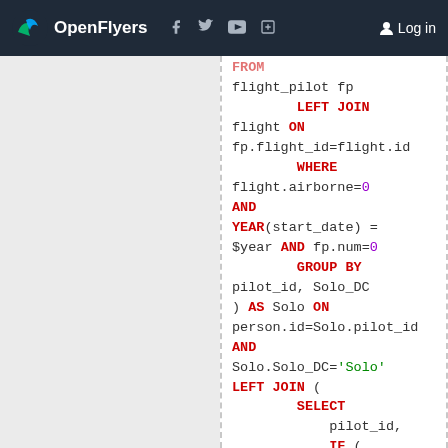OpenFlyers | Log in
SQL code block showing flight_pilot query with LEFT JOIN, WHERE, GROUP BY, and nested SELECT with COUNT(*)